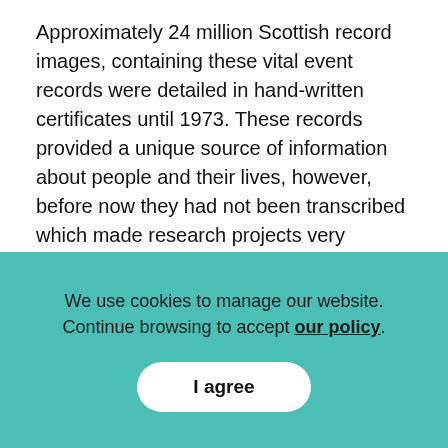Approximately 24 million Scottish record images, containing these vital event records were detailed in hand-written certificates until 1973. These records provided a unique source of information about people and their lives, however, before now they had not been transcribed which made research projects very difficult and time consuming.
Fortunately in 2012, the Digitising Scotland project received funding to digitise these records, allowing reseachers to access and uncover rich insights into Scotland's population. These digitised records now form the Scottish Historic Population Platform (SHiPP) and have been used to
We use cookies to manage our website. Continue browsing to accept our policy.
I agree